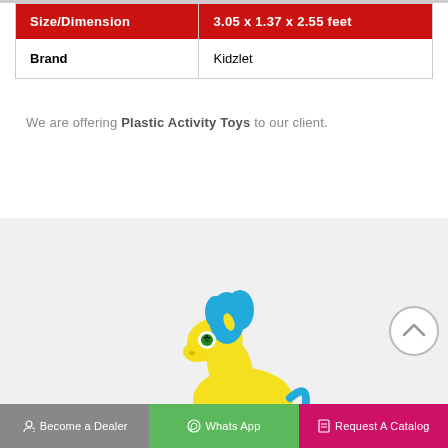| Size/Dimension | 3.05 x 1.37 x 2.55 feet |
| --- | --- |
| Brand | Kidzlet |
We are offering Plastic Activity Toys to our client.
Read More →
[Figure (photo): Yellow plastic horse toy with blue mane and green eyes, a children's activity toy product]
Become a Dealer | WhatsApp | Request A Catalog